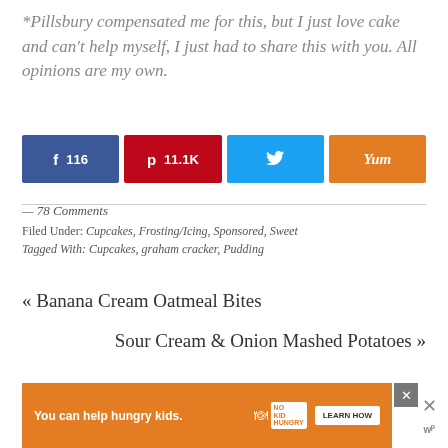*Pillsbury compensated me for this, but I just love cake and can’t help myself, I just had to share this with you. All opinions are my own.
[Figure (infographic): Social media share buttons: Facebook (116), Pinterest (11.1K), Twitter, Yummly]
— 78 Comments
Filed Under: Cupcakes, Frosting/Icing, Sponsored, Sweet
Tagged With: Cupcakes, graham cracker, Pudding
« Banana Cream Oatmeal Bites
Sour Cream & Onion Mashed Potatoes »
[Figure (infographic): Advertisement banner: You can help hungry kids. No Kid Hungry. Learn How.]